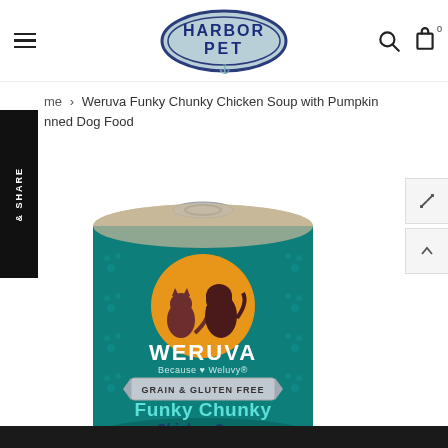[Figure (logo): Harbor Pet store logo — oval shape with blue border, text HARBOR PET in navy blue on light blue background]
Home > Weruva Funky Chunky Chicken Soup with Pumpkin Canned Dog Food
[Figure (photo): Weruva Funky Chunky Chicken Soup with Pumpkin canned dog food product photo. Teal and gold can with Weruva logo (cat and dog silhouettes on orange circle), GRAIN & GLUTEN FREE banner, text Funky Chunky Chicken Soup]